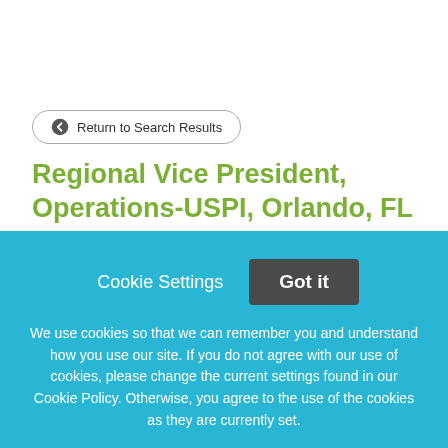← Return to Search Results
Regional Vice President, Operations-USPI, Orlando, FL
JOB DESCRIPTION: The Regional Vice President will be
Cookie Settings
Got it
We use cookies so that we can remember you and understand how you use our site. If you do not agree with our use of cookies, please change the current settings found in our Cookie Policy. Otherwise, you agree to the use of the cookies as they are currently set.